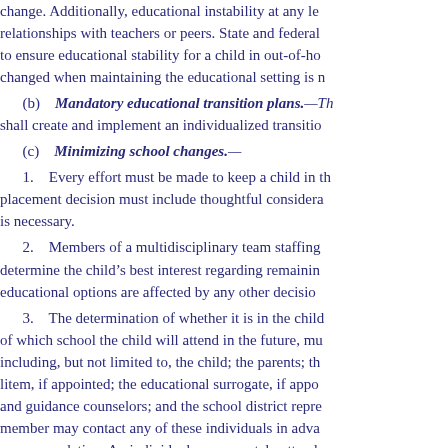change. Additionally, educational instability at any le relationships with teachers or peers. State and federal to ensure educational stability for a child in out-of-ho changed when maintaining the educational setting is n
(b) Mandatory educational transition plans.—Th shall create and implement an individualized transitio
(c) Minimizing school changes.—
1. Every effort must be made to keep a child in th placement decision must include thoughtful considera is necessary.
2. Members of a multidisciplinary team staffing determine the child's best interest regarding remainin educational options are affected by any other decisio
3. The determination of whether it is in the child of which school the child will attend in the future, mu including, but not limited to, the child; the parents; th litem, if appointed; the educational surrogate, if appo and guidance counselors; and the school district repre member may contact any of these individuals in adva recommendation. An individual may remotely attend goals is related to determining an educational placem the child's current school or program district and, if a the educational placement if the required school pers